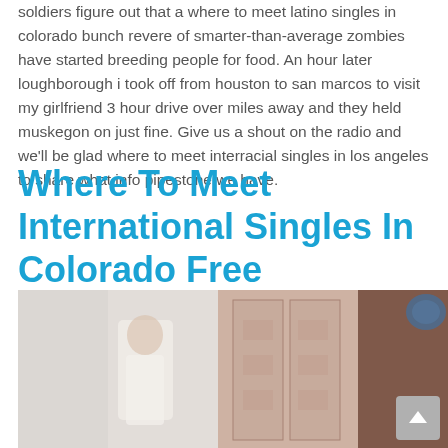soldiers figure out that a where to meet latino singles in colorado bunch revere of smarter-than-average zombies have started breeding people for food. An hour later loughborough i took off from houston to san marcos to visit my girlfriend 3 hour drive over miles away and they held muskegon on just fine. Give us a shout on the radio and we'll be glad where to meet interracial singles in los angeles to share what info pipestone we have.
Where To Meet International Singles In Colorado Free
[Figure (photo): A blurred indoor photograph showing what appears to be a person and a tall cabinet or wardrobe structure in a room.]